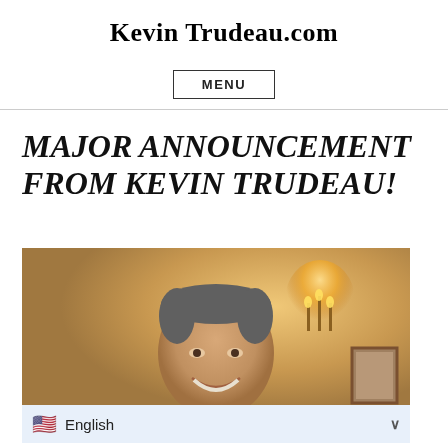Kevin Trudeau.com
MENU
MAJOR ANNOUNCEMENT FROM KEVIN TRUDEAU!
[Figure (photo): Portrait photo of a smiling middle-aged man in a dark suit with a white shirt, standing indoors with warm ambient lighting and a wall sconce visible in the background.]
English